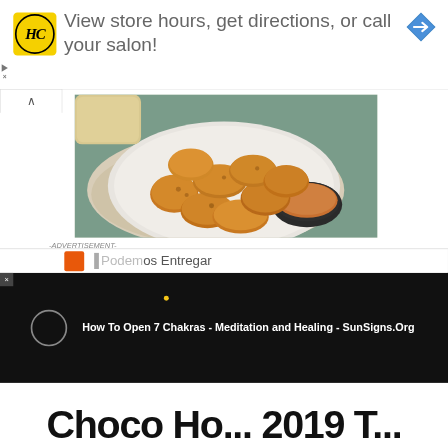[Figure (screenshot): Advertisement banner with HC salon logo and text 'View store hours, get directions, or call your salon!' with a blue navigation arrow icon on the right]
[Figure (photo): Food photo showing fried chicken nuggets/tenders on a white plate with a dark dipping sauce bowl, served on a cloth napkin with bread in background]
-ADVERTISEMENT-
Podemos Entregar
How To Open 7 Chakras - Meditation and Healing - SunSigns.Org
Choco Ho... 2019 T...